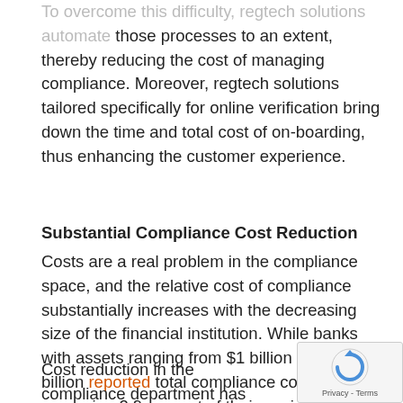To overcome this difficulty, regtech solutions automate those processes to an extent, thereby reducing the cost of managing compliance. Moreover, regtech solutions tailored specifically for online verification bring down the time and total cost of on-boarding, thus enhancing the customer experience.
Substantial Compliance Cost Reduction
Costs are a real problem in the compliance space, and the relative cost of compliance substantially increases with the decreasing size of the financial institution. While banks with assets ranging from $1 billion to $10 billion reported total compliance costs averaging 2.9 percent of their noninterest expenses, banks with less than $100 million in assets reported costs averaging 8.7 percent of their noninterest expenses.
Cost reduction in the compliance department has far-reaching implications. A community bank-focused survey,